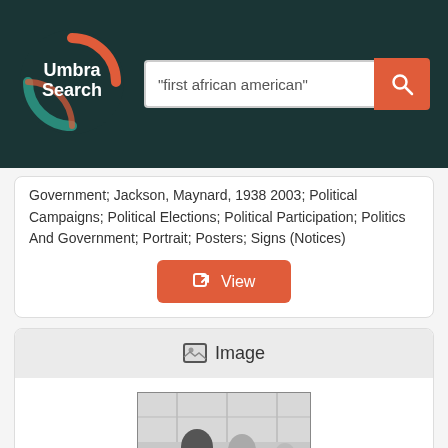[Figure (logo): Umbra Search circular logo with orange and teal arcs on dark background]
"first african american"
Government; Jackson, Maynard, 1938 2003; Political Campaigns; Political Elections; Political Participation; Politics And Government; Portrait; Posters; Signs (Notices)
View
Image
[Figure (photo): Black and white photograph of two men shaking hands in an indoor setting, with a woman visible in the background]